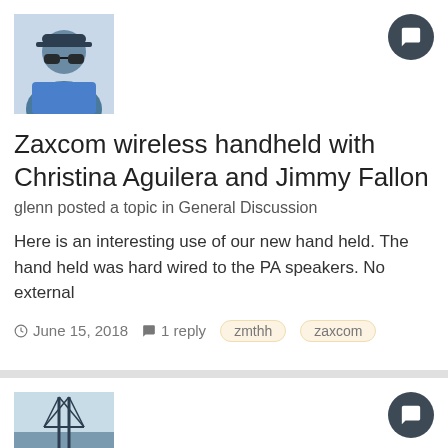[Figure (photo): Avatar photo of a man wearing sunglasses and a blue shirt]
Zaxcom wireless handheld with Christina Aguilera and Jimmy Fallon
glenn posted a topic in General Discussion
Here is an interesting use of our new hand held. The hand held was hard wired to the PA speakers. No external
June 15, 2018  1 reply  zmthh  zaxcom
[Figure (photo): Landscape photo with a bridge or structure over water]
STA 150 + ZFR 100; Stereo Recording half the Quality?
sinnlicht posted a topic in Equipment
Hi all, Am maybe experiencing some degradation through the stereo...